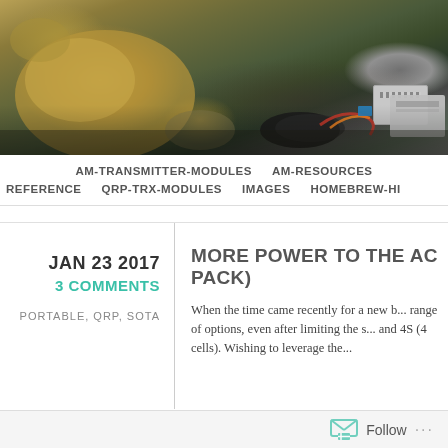[Figure (photo): Outdoor rocky terrain scene with equipment visible in the lower right, including what appears to be a metal box/transmitter, cables and gear laid out on rocks]
AM-TRANSMITTER-MODULES   AM-RESOURCES   REFERENCE   QRP-TRX-MODULES   IMAGES   HOMEBREW-HI...
JAN 23 2017
3 COMMENTS
PORTABLE, QRP, SOTA
MORE POWER TO THE AC... PACK)
When the time came recently for a new b... range of options, even after limiting the s... and 4S (4 cells). Wishing to leverage the...
Follow ...